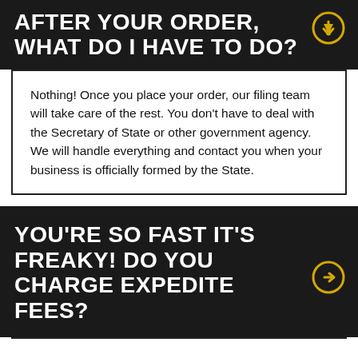AFTER YOUR ORDER, WHAT DO I HAVE TO DO?
Nothing! Once you place your order, our filing team will take care of the rest. You don't have to deal with the Secretary of State or other government agency. We will handle everything and contact you when your business is officially formed by the State.
YOU'RE SO FAST IT'S FREAKY! DO YOU CHARGE EXPEDITE FEES?